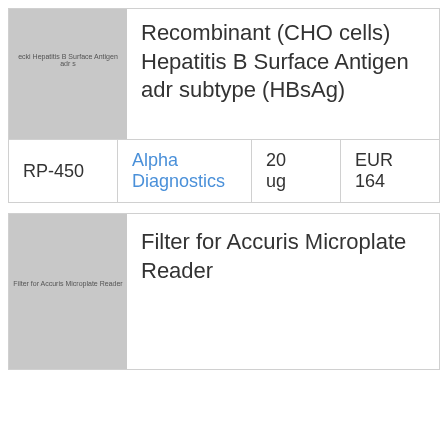[Figure (photo): Product image placeholder for Recombinant CHO cells Hepatitis B Surface Antigen adr subtype (HBsAg) with label text visible]
Recombinant (CHO cells) Hepatitis B Surface Antigen adr subtype (HBsAg)
|  |  |  |  |
| --- | --- | --- | --- |
| RP-450 | Alpha Diagnostics | 20 ug | EUR 164 |
[Figure (photo): Product image placeholder for Filter for Accuris Microplate Reader with label text visible]
Filter for Accuris Microplate Reader